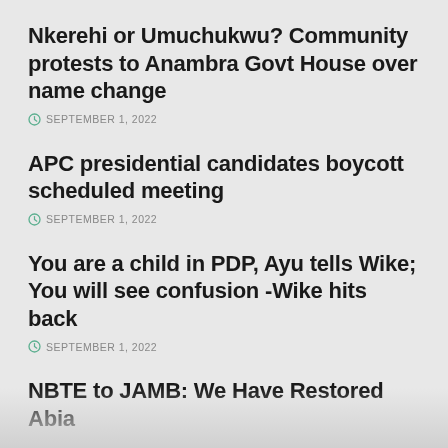Nkerehi or Umuchukwu? Community protests to Anambra Govt House over name change
SEPTEMBER 1, 2022
APC presidential candidates boycott scheduled meeting
SEPTEMBER 1, 2022
You are a child in PDP, Ayu tells Wike; You will see confusion -Wike hits back
SEPTEMBER 1, 2022
NBTE to JAMB: We Have Restored Abia